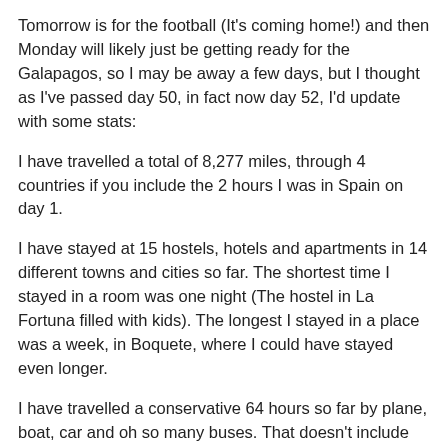Tomorrow is for the football (It's coming home!) and then Monday will likely just be getting ready for the Galapagos, so I may be away a few days, but I thought as I've passed day 50, in fact now day 52, I'd update with some stats:
I have travelled a total of 8,277 miles, through 4 countries if you include the 2 hours I was in Spain on day 1.
I have stayed at 15 hostels, hotels and apartments in 14 different towns and cities so far. The shortest time I stayed in a room was one night (The hostel in La Fortuna filled with kids). The longest I stayed in a place was a week, in Boquete, where I could have stayed even longer.
I have travelled a conservative 64 hours so far by plane, boat, car and oh so many buses. That doesn't include any time waiting for buses or sat in airports etc. I have walked 240 miles so far. Up and down mountains, through rivers, jungle, rainforests, beaches and mangrove swamps. I don't know how much weight I've lost as I can't find any scales, but I'm using a hole in my belt that's never been used before.